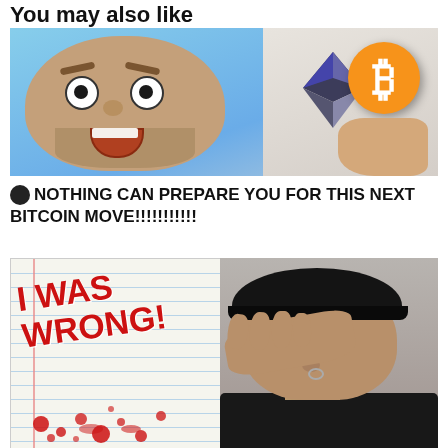You may also like
[Figure (photo): Man with shocked/surprised expression, wide eyes and open mouth. On the right side, a hand holds a phone or card showing Ethereum diamond logo and a Bitcoin orange coin symbol.]
🌑 NOTHING CAN PREPARE YOU FOR THIS NEXT BITCOIN MOVE!!!!!!!!!!!
[Figure (photo): Left half shows a notepad with 'I WAS WRONG!' written in large red bold text at an angle, with red blood splatter marks at bottom. Right half shows a man wearing a black cap, hand pressed to forehead in a distressed or facepalm pose, wearing a black shirt, with a nose ring.]